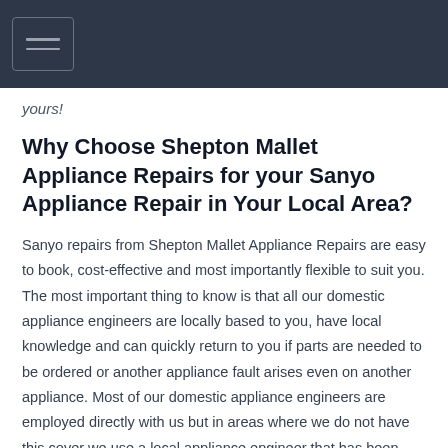yours!
Why Choose Shepton Mallet Appliance Repairs for your Sanyo Appliance Repair in Your Local Area?
Sanyo repairs from Shepton Mallet Appliance Repairs are easy to book, cost-effective and most importantly flexible to suit you. The most important thing to know is that all our domestic appliance engineers are locally based to you, have local knowledge and can quickly return to you if parts are needed to be ordered or another appliance fault arises even on another appliance. Most of our domestic appliance engineers are employed directly with us but in areas where we do not have this cover we use a local appliance engineer that has been carefully chosen and